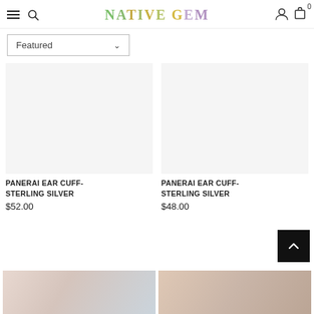NATIVE GEM — navigation header with hamburger menu, search, user icon, cart (0)
Featured ▾
PANERAI EAR CUFF- STERLING SILVER
$52.00
PANERAI EAR CUFF- STERLING SILVER
$48.00
[Figure (photo): Partial product photo bottom left]
[Figure (photo): Partial product photo bottom right]